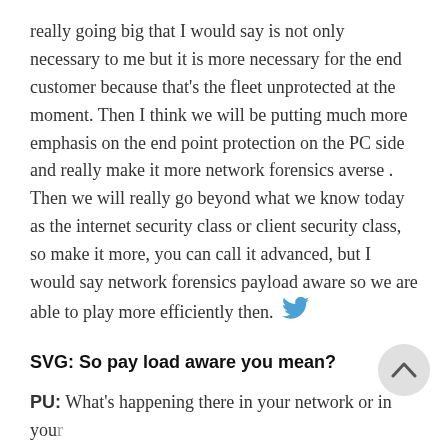really going big that I would say is not only necessary to me but it is more necessary for the end customer because that's the fleet unprotected at the moment. Then I think we will be putting much more emphasis on the end point protection on the PC side and really make it more network forensics averse . Then we will really go beyond what we know today as the internet security class or client security class, so make it more, you can call it advanced, but I would say network forensics payload aware so we are able to play more efficiently then.
SVG: So pay load aware you mean?
PU: What's happening there in your network or in your system, not only what's happening in my machine but